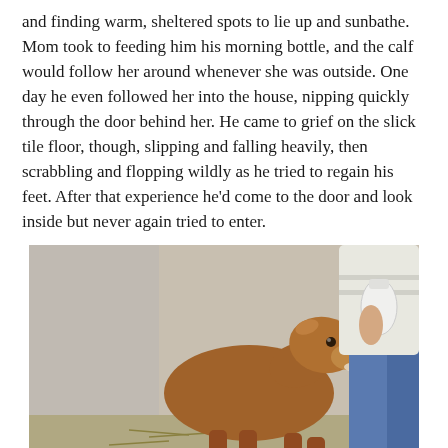and finding warm, sheltered spots to lie up and sunbathe. Mom took to feeding him his morning bottle, and the calf would follow her around whenever she was outside. One day he even followed her into the house, nipping quickly through the door behind her. He came to grief on the slick tile floor, though, slipping and falling heavily, then scrabbling and flopping wildly as he tried to regain his feet. After that experience he’d come to the door and look inside but never again tried to enter.
[Figure (photo): A young brown calf standing and leaning its head toward a person in jeans who is holding a white bottle/container, photographed outdoors near a concrete step.]
After a couple of weeks we turned him out with the first-calf heifers to see of he could learn to “steal” milk, and he got pretty good at it. He learned to sneak in from behind while a calf was nursing from the side, and the mild-tempered new mommas